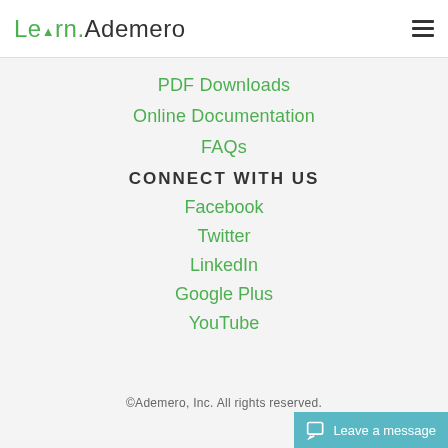Learn.Ademero
PDF Downloads
Online Documentation
FAQs
CONNECT WITH US
Facebook
Twitter
LinkedIn
Google Plus
YouTube
©Ademero, Inc. All rights reserved.